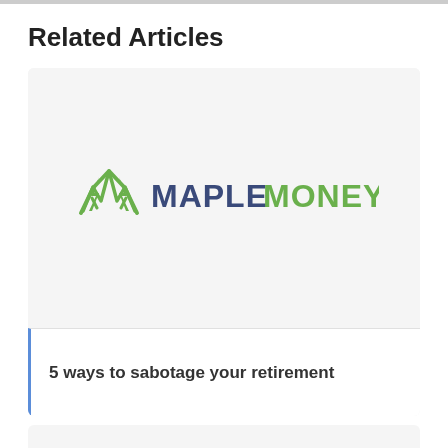Related Articles
[Figure (logo): MapleMoney logo — stylized maple leaf M icon in green and blue, with the text MAPLEMONEY in dark blue capital letters]
5 ways to sabotage your retirement